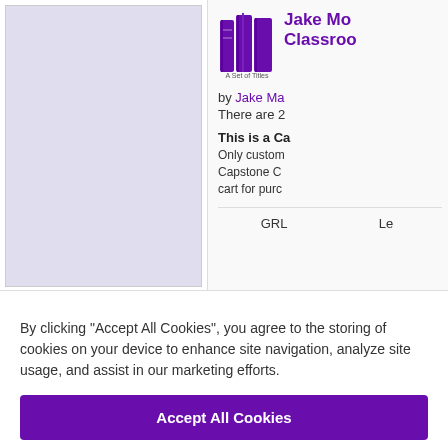[Figure (illustration): Purple book icon labeled 'A Set of Titles']
Jake Mo... Classroo...
by Jake Ma...
There are 2...
This is a Ca... Only custom... Capstone C... cart for purc...
GRL   Le...
By clicking “Accept All Cookies”, you agree to the storing of cookies on your device to enhance site navigation, analyze site usage, and assist in our marketing efforts.
Accept All Cookies
Cookies Settings